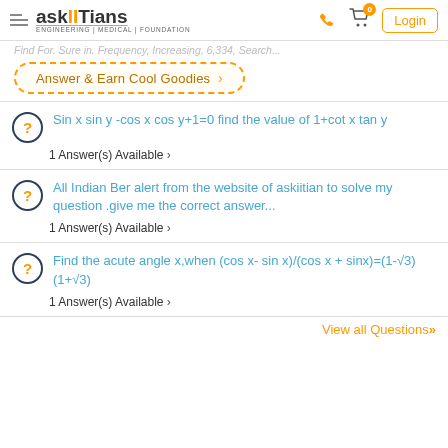askIITians ENGINEERING | MEDICAL | FOUNDATION — Login
Find For. Sure in. Frequency, Increasing, 6,334, Pi...
Answer & Earn Cool Goodies >
Sin x sin y -cos x cos y+1=0 find the value of 1+cot x tan y
1 Answer(s) Available >
All Indian Ber alert from the website of askiitian to solve my question .give me the correct answer...
1 Answer(s) Available >
Find the acute angle x,when (cos x- sin x)/(cos x + sinx)=(1-√3)(1+√3)
1 Answer(s) Available >
View all Questions»